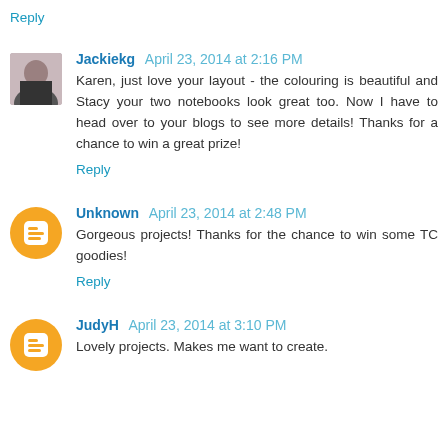Reply
Jackiekg April 23, 2014 at 2:16 PM
Karen, just love your layout - the colouring is beautiful and Stacy your two notebooks look great too. Now I have to head over to your blogs to see more details! Thanks for a chance to win a great prize!
Reply
Unknown April 23, 2014 at 2:48 PM
Gorgeous projects! Thanks for the chance to win some TC goodies!
Reply
JudyH April 23, 2014 at 3:10 PM
Lovely projects. Makes me want to create.